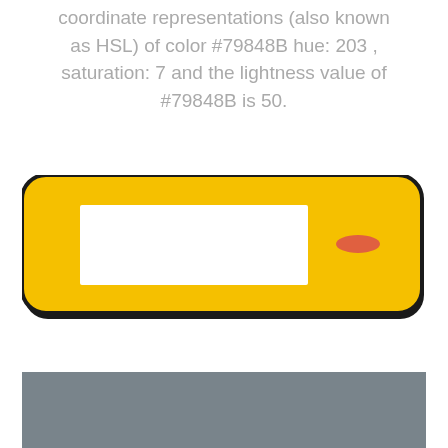coordinate representations (also known as HSL) of color #79848B hue: 203 , saturation: 7 and the lightness value of #79848B is 50.
[Figure (illustration): A yellow rounded rectangle (license plate style) with a white rectangular box on the left and a small orange/red horizontal oval button on the right, outlined in dark/black border.]
[Figure (illustration): A solid gray-blue rectangle color swatch (color #79848B) visible at the bottom of the page.]